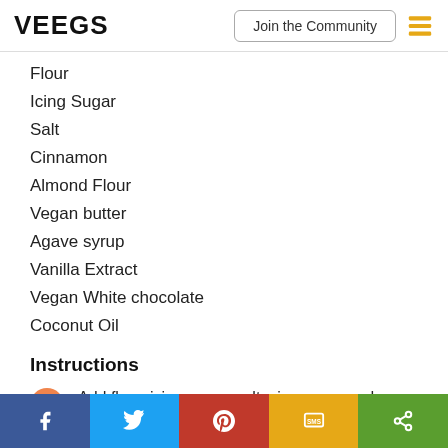VEEGS | Join the Community
Flour
Icing Sugar
Salt
Cinnamon
Almond Flour
Vegan butter
Agave syrup
Vanilla Extract
Vegan White chocolate
Coconut Oil
Instructions
1. Add flour, icing sugar, salt, cinnamon, and almond flour then mix
f | twitter | pinterest | SMS | share